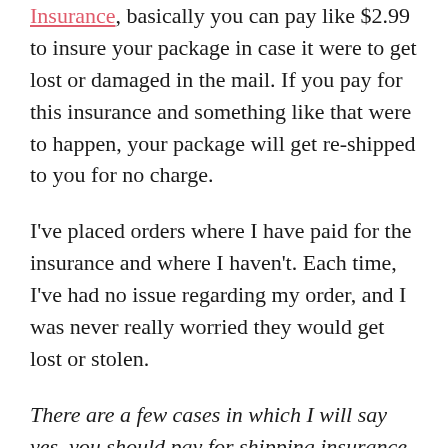Insurance, basically you can pay like $2.99 to insure your package in case it were to get lost or damaged in the mail. If you pay for this insurance and something like that were to happen, your package will get re-shipped to you for no charge.
I've placed orders where I have paid for the insurance and where I haven't. Each time, I've had no issue regarding my order, and I was never really worried they would get lost or stolen.
There are a few cases in which I will say yes, you should pay for shipping insurance though. If you've never ordered something from an international retailer before, I would